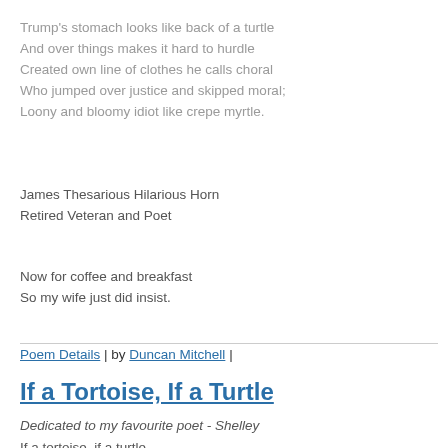Trump's stomach looks like back of a turtle
And over things makes it hard to hurdle
Created own line of clothes he calls choral
Who jumped over justice and skipped moral;
Loony and bloomy idiot like crepe myrtle.
James Thesarious Hilarious Horn
Retired Veteran and Poet
Now for coffee and breakfast
So my wife just did insist.
Poem Details | by Duncan Mitchell |
If a Tortoise, If a Turtle
Dedicated to my favourite poet - Shelley
If a tortoise, if a turtle